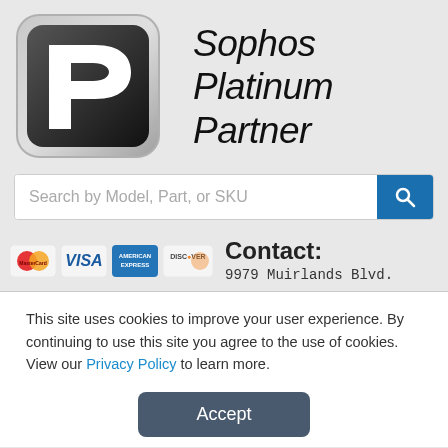[Figure (logo): Sophos Platinum Partner logo with stylized P icon and text]
Search by Model, Part, or SKU
[Figure (infographic): Payment method icons: MasterCard, VISA, American Express, Discover]
Contact:
9979 Muirlands Blvd.
This site uses cookies to improve your user experience. By continuing to use this site you agree to the use of cookies. View our Privacy Policy to learn more.
Accept